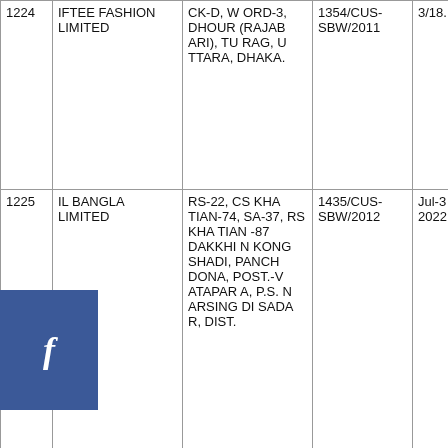| No. | Name | Address | Case No. | Date |
| --- | --- | --- | --- | --- |
| 1224 | IFTEE FASHION LIMITED | CK-D, WORD-3, DHOUR (RAJABARI), TURAG, UTTARA, DHAKA. | 1354/CUS-SBW/2011 | 3/18... |
| 1225 | IL BANGLA LIMITED | RS-22, CS KHATIAN-74, SA-37, RS KHATIAN -87 DAKKHIN KONG SHADI, PANCHDONA, POST.-VATAPARA, P.S. NARSINGDI SADA R, DIST... | 1435/CUS-SBW/2012 | Jul-3 2022 |